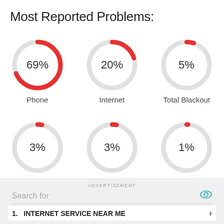Most Reported Problems:
[Figure (donut-chart): Phone]
[Figure (donut-chart): Internet]
[Figure (donut-chart): Total Blackout]
[Figure (donut-chart): Wi-fi]
[Figure (donut-chart): E-mail]
[Figure (donut-chart): TV]
ADVERTISEMENT
Search for
1. INTERNET SERVICE NEAR ME